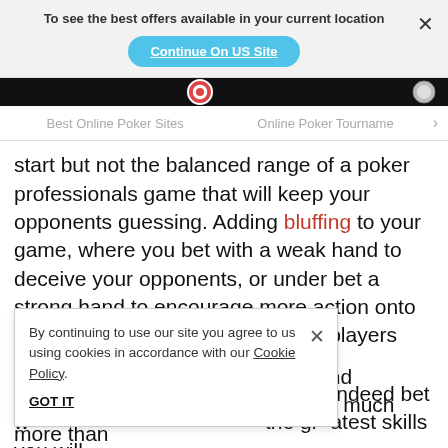To see the best offers available in your current location
Continue On US Site
Best Online Poker Sites   Online Poker Tourname…
start but not the balanced range of a poker professionals game that will keep your opponents guessing. Adding bluffing to your game, where you bet with a weak hand to deceive your opponents, or under bet a strong hand to encourage more action onto the table are key elements of any players poker armoury. G… or indeed bet w… eatest skills you will d…
By continuing to use our site you agree to us using cookies in accordance with our Cookie Policy.
GOT IT
B… ver-used and experienced players play it straight much more than